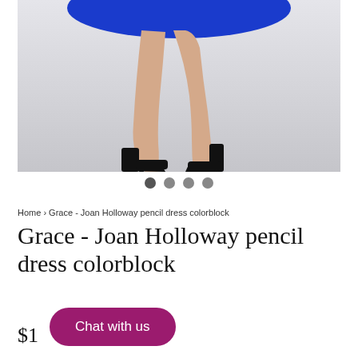[Figure (photo): Photo of lower body of a woman wearing a blue pencil dress and black high heels, against a light grey/white background. Image is cropped showing from waist down to feet.]
Home › Grace - Joan Holloway pencil dress colorblock
Grace - Joan Holloway pencil dress colorblock
$1
Chat with us